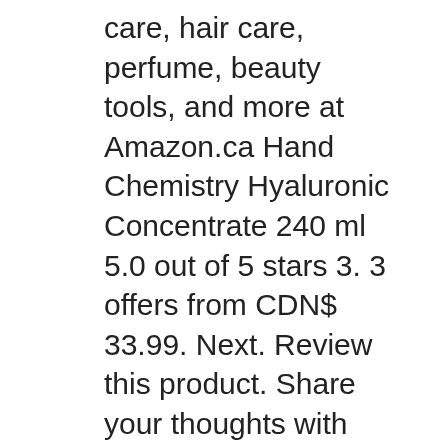care, hair care, perfume, beauty tools, and more at Amazon.ca Hand Chemistry Hyaluronic Concentrate 240 ml 5.0 out of 5 stars 3. 3 offers from CDN$ 33.99. Next. Review this product. Share your thoughts with other customers. Write a customer review., Restore the youthful glow back to ageing hands with the Hand Chemistry Intense Youth Complex, a multi-functional hand cream that simultaneously targets 8 signs of ageing. Be the first to review вЂњHand Chemistry (30ml)вЂќ Cancel reply. Your rating The Chemistry Brand Hyaluronic Concentrate 240ml.
May 03, 2017В В· Hi guys! Today I'll like to introduce one of the best hand